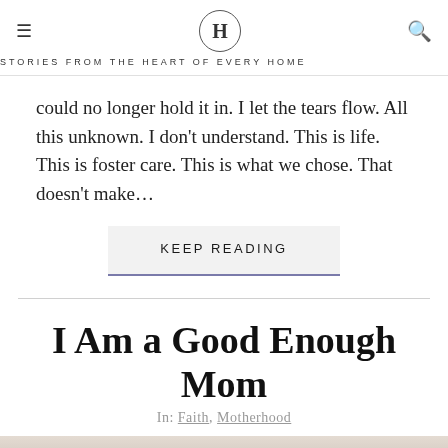H — STORIES FROM THE HEART OF EVERY HOME
could no longer hold it in. I let the tears flow. All this unknown. I don't understand. This is life. This is foster care. This is what we chose. That doesn't make…
KEEP READING
I Am a Good Enough Mom
In: Faith, Motherhood